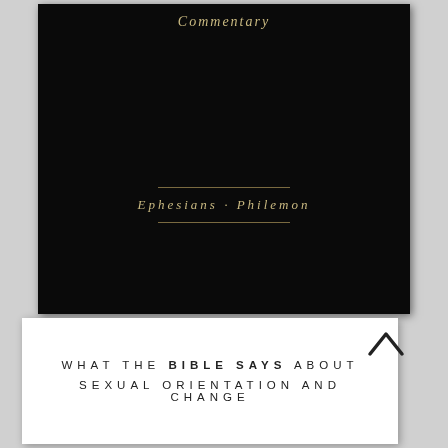[Figure (photo): Dark book cover with gold italic text reading 'Commentary' at top and 'Ephesians · Philemon' in center with decorative divider lines, on a black background]
WHAT THE BIBLE SAYS ABOUT SEXUAL ORIENTATION AND CHANGE